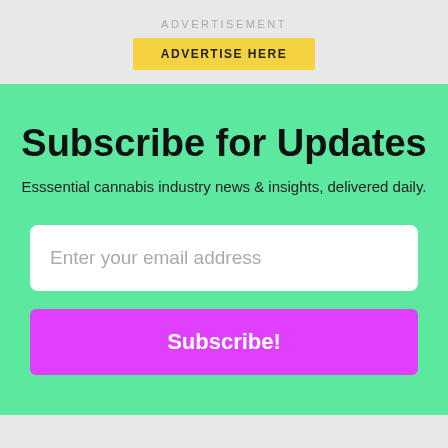ADVERTISEMENT
[Figure (other): Yellow button labeled ADVERTISE HERE]
Subscribe for Updates
Esssential cannabis industry news & insights, delivered daily.
Enter your email address
Subscribe!